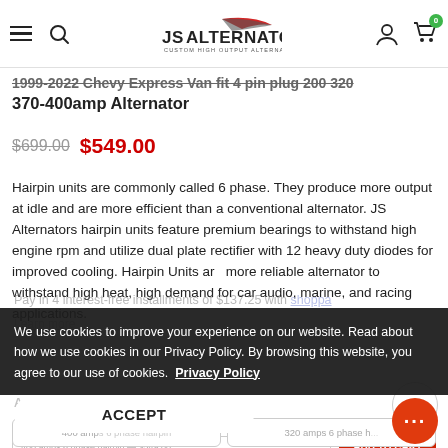JS Alternators — navigation bar with hamburger, search, logo, user icon, cart (0)
1999-2022 Chevy Express Van fit 4 pin plug 200 320 370-400amp Alternator
$699.00  $549.00
Hairpin units are commonly called 6 phase. They produce more output at idle and are more efficient than a conventional alternator. JS Alternators hairpin units feature premium bearings to withstand high engine rpm and utilize dual plate rectifier with 12 heavy duty diodes for improved cooling. Hairpin Units are more reliable alternator to withstand high heat, high demand for car audio, marine, and racing applications.
We use cookies to improve your experience on our website. Read about how we use cookies in our Privacy Policy. By browsing this website, you agree to our use of cookies.  Privacy Policy
ACCEPT
Amperage *
400 amps 6 phase hairpin   320 amps 6 phase h...
ADD TO CART